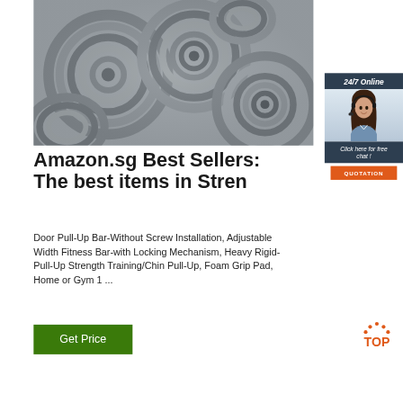[Figure (photo): Photo of coiled steel wire rods stacked together in gray metallic color]
[Figure (infographic): 24/7 Online chat widget with woman wearing headset, 'Click here for free chat!' text and orange QUOTATION button]
Amazon.sg Best Sellers: The best items in Stren
Door Pull-Up Bar-Without Screw Installation, Adjustable Width Fitness Bar-with Locking Mechanism, Heavy Rigid-Pull-Up Strength Training/Chin Pull-Up, Foam Grip Pad, Home or Gym 1 ...
[Figure (illustration): Orange TOP logo with dotted arc above the word TOP in orange]
Get Price